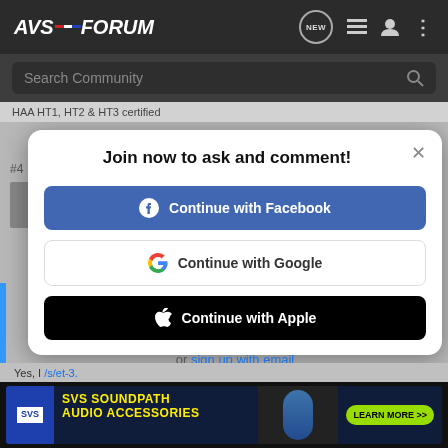[Figure (screenshot): AVSForum navigation bar with logo, NEW button, list icon, user icon, and dots menu]
[Figure (screenshot): Search Community search bar with magnifying glass icon]
HAA HT1, HT2 & HT3 certified
Join now to ask and comment!
Continue with Facebook
Continue with Google
Continue with Apple
or sign up with email
Yes, I
[Figure (screenshot): SVS SoundPath Audio Accessories advertisement banner with LEARN MORE button]